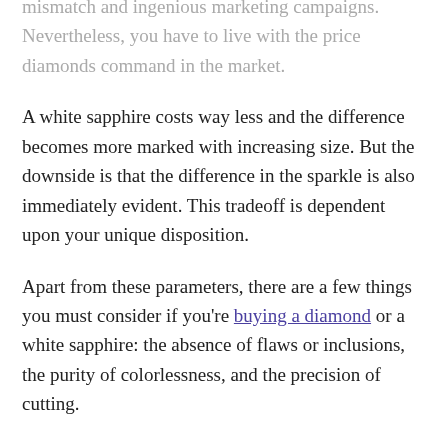mismatch and ingenious marketing campaigns. Nevertheless, you have to live with the price diamonds command in the market.
A white sapphire costs way less and the difference becomes more marked with increasing size. But the downside is that the difference in the sparkle is also immediately evident. This tradeoff is dependent upon your unique disposition.
Apart from these parameters, there are a few things you must consider if you're buying a diamond or a white sapphire: the absence of flaws or inclusions, the purity of colorlessness, and the precision of cutting.